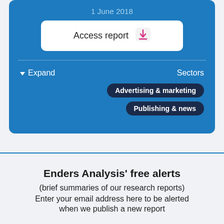1 June 2018
Access report
Expand
Sectors
Advertising & marketing
Publishing & news
Enders Analysis' free alerts
(brief summaries of our research reports)
Enter your email address here to be alerted
when we publish a new report